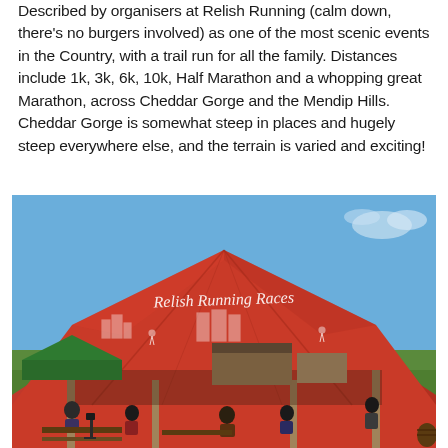Described by organisers at Relish Running (calm down, there's no burgers involved) as one of the most scenic events in the Country, with a trail run for all the family. Distances include 1k, 3k, 6k, 10k, Half Marathon and a whopping great Marathon, across Cheddar Gorge and the Mendip Hills. Cheddar Gorge is somewhat steep in places and hugely steep everywhere else, and the terrain is varied and exciting!
[Figure (photo): A large red marquee tent with 'Relish Running Races' written in white script on the fabric, decorated with white illustrations of a castle and running figures. The tent is set up in a green field under a blue sky. Below the tent canopy, people are seated at picnic tables and standing around. Food trucks and market stalls are visible in the background.]